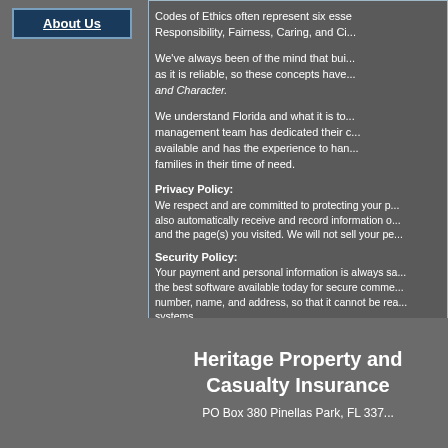About Us
Codes of Ethics often represent six esse... Responsibility, Fairness, Caring, and Ci...
We've always been of the mind that bui... as it is reliable, so these concepts have... and Character.
We understand Florida and what it is to... management team has dedicated their c... available and has the experience to han... families in their time of need.
Privacy Policy:
We respect and are committed to protecting your pr... also automatically receive and record information o... and the page(s) you visited. We will not sell your pe...
Security Policy:
Your payment and personal information is always sa... the best software available today for secure comme... number, name, and address, so that it cannot be rea... systems.
Heritage Property and Casualty Insurance
PO Box 380 Pinellas Park, FL 337...